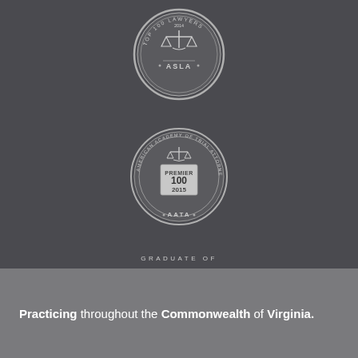[Figure (logo): ASLA Top 100 Lawyers 2014 circular badge/seal in silver/grey tones with scales of justice icon]
[Figure (logo): American Academy of Trial Attorneys Premier 100 2015 AATA circular badge in silver/grey tones with scales of justice icon]
[Figure (logo): Graduate of Trial Lawyers College Thunderhead Ranch Dubois Wyoming logo with cloud and lightning bolt graphic]
Practicing throughout the Commonwealth of Virginia.